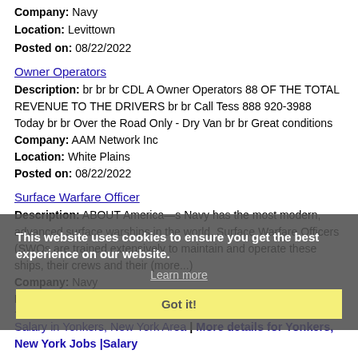Company: Navy
Location: Levittown
Posted on: 08/22/2022
Owner Operators
Description: br br br CDL A Owner Operators 88 OF THE TOTAL REVENUE TO THE DRIVERS br br Call Tess 888 920-3988 Today br br Over the Road Only - Dry Van br br Great conditions
Company: AAM Network Inc
Location: White Plains
Posted on: 08/22/2022
Surface Warfare Officer
Description: ABOUT America—s Navy has the most modern, advanced surface warships in the world. Surface Warfare Officers (SWOs are trained extensively to maintain and operate these ships, their crews and their (more...)
Company: Navy
Location: Levittown
Posted on: 08/22/2022
This website uses cookies to ensure you get the best experience on our website.
Learn more
Got it!
Salary in Yonkers, New York Area | More details for Yonkers, New York Jobs |Salary